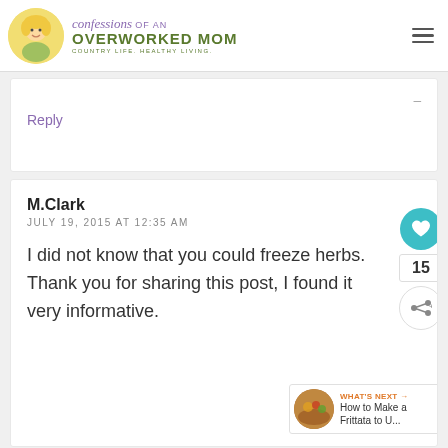confessions OF AN OVERWORKED MOM — COUNTRY LIFE. HEALTHY LIVING.
Reply
M.Clark
JULY 19, 2015 AT 12:35 AM
I did not know that you could freeze herbs. Thank you for sharing this post, I found it very informative.
[Figure (screenshot): What's Next overlay showing 'How to Make a Frittata to U...' with a food image thumbnail]